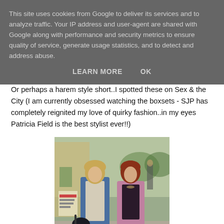This site uses cookies from Google to deliver its services and to analyze traffic. Your IP address and user-agent are shared with Google along with performance and security metrics to ensure quality of service, generate usage statistics, and to detect and address abuse.
LEARN MORE    OK
Or perhaps a harem style short..I spotted these on Sex & the City (I am currently obsessed watching the boxsets - SJP has completely reignited my love of quirky fashion..in my eyes Patricia Field is the best stylist ever!!)
[Figure (photo): Two women walking together outdoors. Left woman has blonde hair, wearing a denim blazer over a light top with dark pants and a dark shoulder bag. Right woman has red/auburn hair, wearing a pink blazer over a dark top with a blue patterned skirt, carrying a bag.]